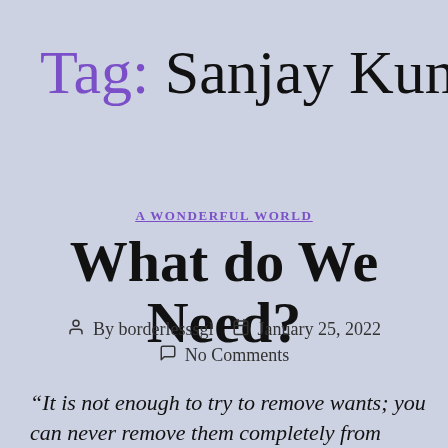Tag: Sanjay Kumar
A WONDERFUL WORLD
What do We Need?
By borderlesssgl   January 25, 2022
No Comments
“It is not enough to try to remove wants; you can never remove them completely from outside; the